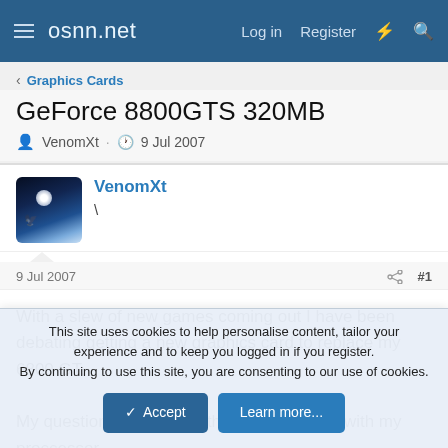osnn.net — Log in   Register
< Graphics Cards
GeForce 8800GTS 320MB
VenomXt · 9 Jul 2007
VenomXt
\
9 Jul 2007  #1
With a slew of new games coming out I have been debating getting a new graphics card to replace my 6800 GT.

My question is how does this card stack up with my proccessor..
This site uses cookies to help personalise content, tailor your experience and to keep you logged in if you register.
By continuing to use this site, you are consenting to our use of cookies.
[Accept]  [Learn more...]